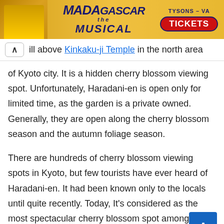[Figure (other): Advertisement banner for Madagascar the Musical at Tysons VA with a Tickets button]
ill above Kinkaku-ji Temple in the north area of Kyoto city. It is a hidden cherry blossom viewing spot. Unfortunately, Haradani-en is open only for limited time, as the garden is a private owned. Generally, they are open along the cherry blossom season and the autumn foliage season.
There are hundreds of cherry blossom viewing spots in Kyoto, but few tourists have ever heard of Haradani-en. It had been known only to the locals until quite recently. Today, It's considered as the most spectacular cherry blossom spot among cherry blossom fans. You will be amazed at the sight of cherry blossoms blooming all over the garden. There is no other